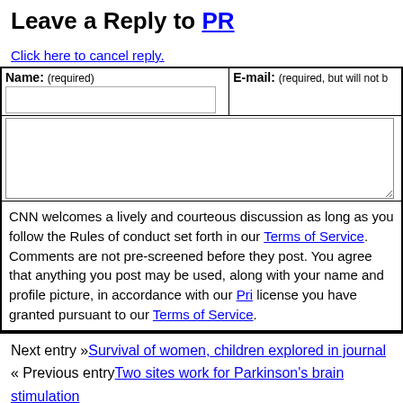Leave a Reply to PR
Click here to cancel reply.
| Name: (required) | E-mail: (required, but will not be published) |
| --- | --- |
|  |  |
CNN welcomes a lively and courteous discussion as long as you follow the Rules of Conduct set forth in our Terms of Service. Comments are not pre-screened before they post. You agree that anything you post may be used, along with your name and profile picture, in accordance with our Privacy Policy and the license you have granted pursuant to our Terms of Service.
Next entry »Survival of women, children explored in journal
« Previous entryTwo sites work for Parkinson's brain stimulation